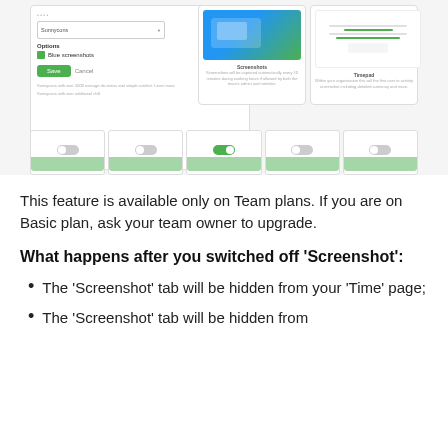[Figure (screenshot): Screenshot showing a settings panel with a dropdown, options including 'Blue screenshots' checkbox, Save/Cancel buttons, and small text. On the right, two info cards: 'Screenshots' and 'Timepad' with descriptions. Below, a row of toggle cards with on/off states and green bars at the bottom.]
This feature is available only on Team plans. If you are on Basic plan, ask your team owner to upgrade.
What happens after you switched off 'Screenshot':
The 'Screenshot' tab will be hidden from your 'Time' page;
The 'Screenshot' tab will be hidden from